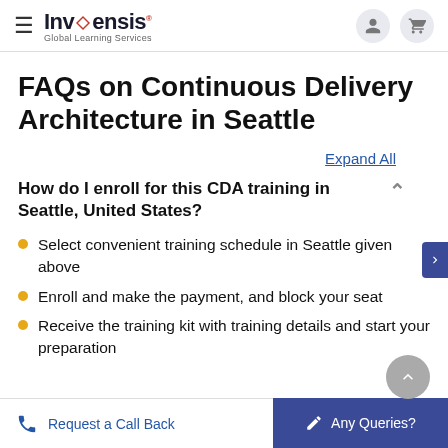Invensis Global Learning Services
FAQs on Continuous Delivery Architecture in Seattle
Expand All
How do I enroll for this CDA training in Seattle, United States?
Select convenient training schedule in Seattle given above
Enroll and make the payment, and block your seat
Receive the training kit with training details and start your preparation
Request a Call Back | Any Queries?